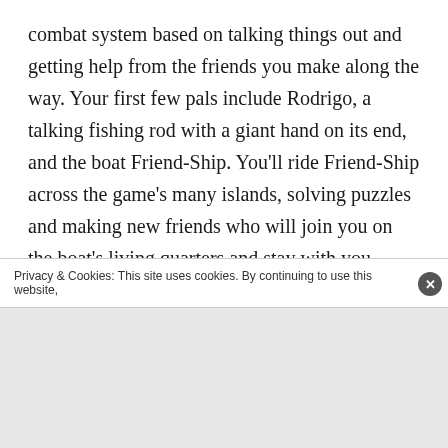combat system based on talking things out and getting help from the friends you make along the way. Your first few pals include Rodrigo, a talking fishing rod with a giant hand on its end, and the boat Friend-Ship. You'll ride Friend-Ship across the game's many islands, solving puzzles and making new friends who will join you on the boat's living quarters and stay with you forever. Whenever you encounter a friend-to-be, though, they're overcome by the Leviathan's dark power and overwhelmed by some particular emotion. Some are being really mean, some afraid, some embarrassed, and others over-confident. Everyone has their own story, all 60 of them,
Privacy & Cookies: This site uses cookies. By continuing to use this website,